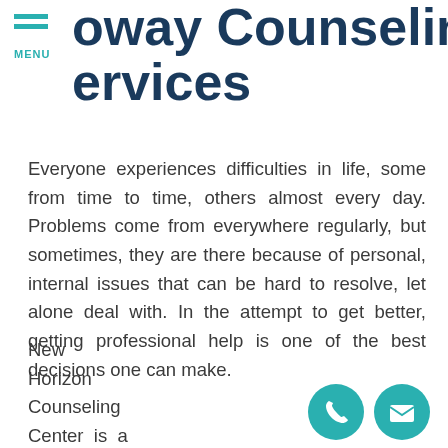MENU | Poway Counseling Services
Everyone experiences difficulties in life, some from time to time, others almost every day. Problems come from everywhere regularly, but sometimes, they are there because of personal, internal issues that can be hard to resolve, let alone deal with. In the attempt to get better, getting professional help is one of the best decisions one can make.
New Horizon Counseling Center is a trusted Poway, CA counseling center that is always